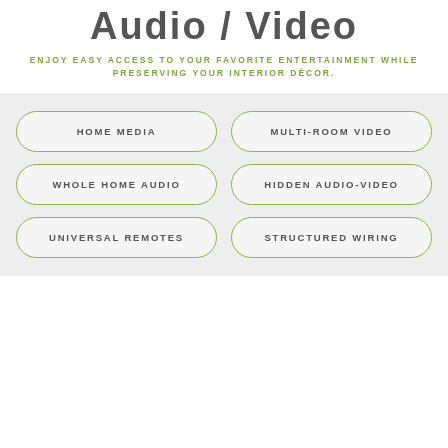Audio / Video
ENJOY EASY ACCESS TO YOUR FAVORITE ENTERTAINMENT WHILE PRESERVING YOUR INTERIOR DÉCOR.
HOME MEDIA
MULTI-ROOM VIDEO
WHOLE HOME AUDIO
HIDDEN AUDIO-VIDEO
UNIVERSAL REMOTES
STRUCTURED WIRING